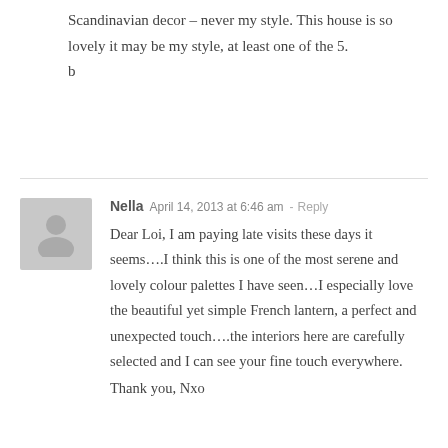Scandinavian decor – never my style. This house is so lovely it may be my style, at least one of the 5.
b
Nella  April 14, 2013 at 6:46 am  - Reply
Dear Loi, I am paying late visits these days it seems….I think this is one of the most serene and lovely colour palettes I have seen…I especially love the beautiful yet simple French lantern, a perfect and unexpected touch….the interiors here are carefully selected and I can see your fine touch everywhere.
Thank you, Nxo